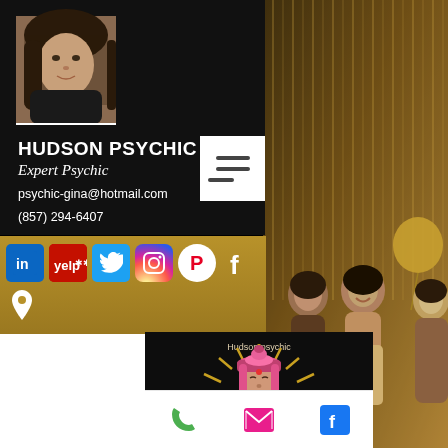[Figure (photo): Profile photo of a woman with dark hair on black background]
HUDSON PSYCHIC
Expert Psychic
psychic-gina@hotmail.com
(857) 294-6407
[Figure (infographic): Social media icons bar: LinkedIn, Yelp, Twitter, Instagram, Pinterest, Facebook, and a location pin icon on a gold/brown background]
[Figure (photo): Photo of women laughing at a party with gold balloon, bokeh curtain background on right side]
[Figure (illustration): Hudson psychic logo illustration: cartoon psychic woman with pink hair and golden rays on black background, text 'Hudson psychic' above]
[Figure (infographic): Bottom action bar with phone icon (green), email icon (pink), and Facebook icon (blue)]